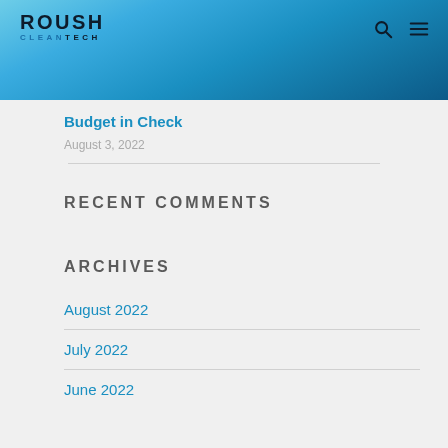Roush CleanTech
Budget in Check
August 3, 2022
RECENT COMMENTS
ARCHIVES
August 2022
July 2022
June 2022